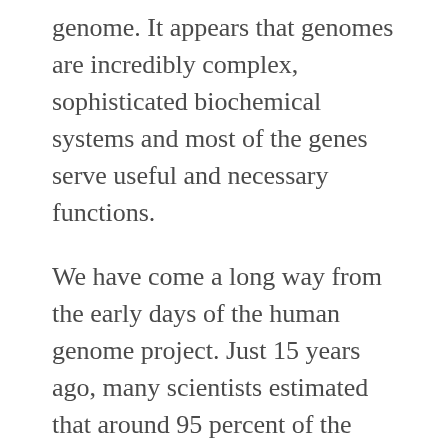genome. It appears that genomes are incredibly complex, sophisticated biochemical systems and most of the genes serve useful and necessary functions.
We have come a long way from the early days of the human genome project. Just 15 years ago, many scientists estimated that around 95 percent of the human genome consists of junk. That acknowledgment seemingly provided compelling evidence that humans must be the product of an evolutionary history. Today, the evidence suggests that the more we learn about the structure and function of genomes, the more elegant and sophisticated they appear to be. It is quite